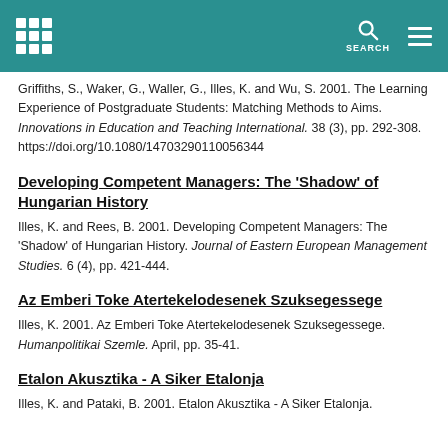Griffiths, S., Waker, G., Waller, G., Illes, K. and Wu, S. 2001. The Learning Experience of Postgraduate Students: Matching Methods to Aims. Innovations in Education and Teaching International. 38 (3), pp. 292-308. https://doi.org/10.1080/14703290110056344
Developing Competent Managers: The 'Shadow' of Hungarian History
Illes, K. and Rees, B. 2001. Developing Competent Managers: The 'Shadow' of Hungarian History. Journal of Eastern European Management Studies. 6 (4), pp. 421-444.
Az Emberi Toke Atertekelodesenek Szuksegessege
Illes, K. 2001. Az Emberi Toke Atertekelodesenek Szuksegessege. Humanpolitikai Szemle. April, pp. 35-41.
Etalon Akusztika - A Siker Etalonja
Illes, K. and Pataki, B. 2001. Etalon Akusztika - A Siker Etalonja.